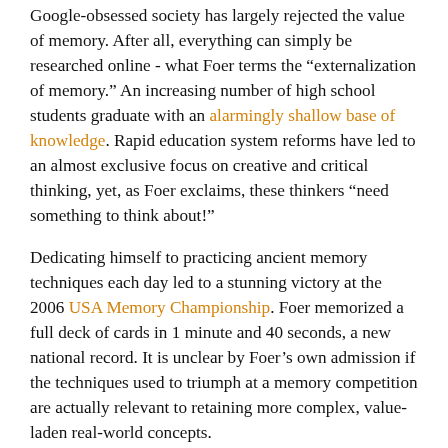Google-obsessed society has largely rejected the value of memory. After all, everything can simply be researched online - what Foer terms the “externalization of memory.” An increasing number of high school students graduate with an alarmingly shallow base of knowledge. Rapid education system reforms have led to an almost exclusive focus on creative and critical thinking, yet, as Foer exclaims, these thinkers “need something to think about!”
Dedicating himself to practicing ancient memory techniques each day led to a stunning victory at the 2006 USA Memory Championship. Foer memorized a full deck of cards in 1 minute and 40 seconds, a new national record. It is unclear by Foer’s own admission if the techniques used to triumph at a memory competition are actually relevant to retaining more complex, value-laden real-world concepts.